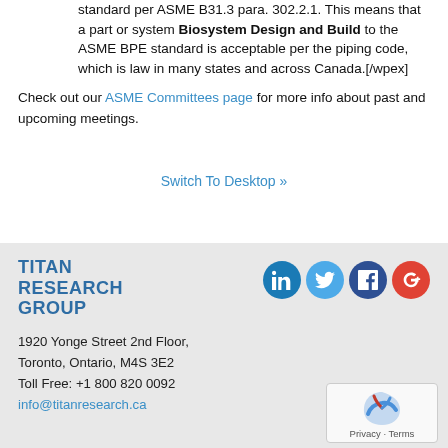standard per ASME B31.3 para. 302.2.1. This means that a part or system Biosystem Design and Build to the ASME BPE standard is acceptable per the piping code, which is law in many states and across Canada.[/wpex]
Check out our ASME Committees page for more info about past and upcoming meetings.
Switch To Desktop »
TITAN RESEARCH GROUP
1920 Yonge Street 2nd Floor,
Toronto, Ontario, M4S 3E2
Toll Free: +1 800 820 0092
info@titanresearch.ca